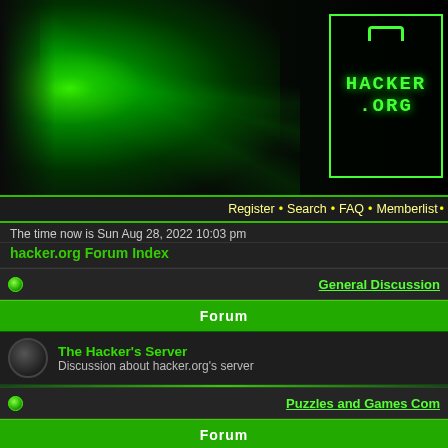[Figure (screenshot): Hacker.org website banner with green light effects and logo]
Register • Search • FAQ • Memberlist •
The time now is Sun Aug 28, 2022 10:03 pm
hacker.org Forum Index
General Discussion
Forum
The Hacker's Server - Discussion about hacker.org's server
Puzzles and Games Com
Forum
Challenges
Challenges Solved - Discussion of challenges you have already solved
General Puzzles - Discussion about the puzzle system.
Modulo Puzzle - This forum is for discussions related to solving the Modulo puzzle